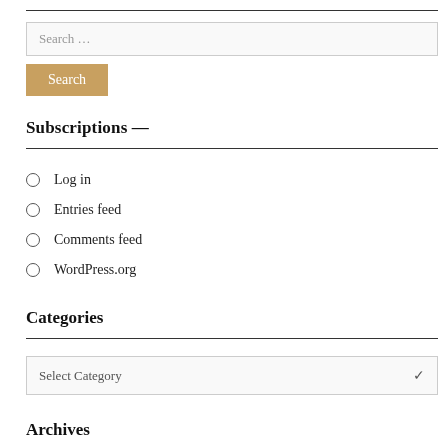Search ...
Search
Subscriptions —
Log in
Entries feed
Comments feed
WordPress.org
Categories
Select Category
Archives